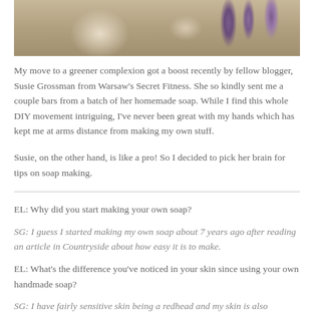[Figure (photo): Close-up photo of homemade soap bars on burlap fabric with lavender sprigs in the background]
My move to a greener complexion got a boost recently by fellow blogger, Susie Grossman from Warsaw's Secret Fitness. She so kindly sent me a couple bars from a batch of her homemade soap. While I find this whole DIY movement intriguing, I've never been great with my hands which has kept me at arms distance from making my own stuff.
Susie, on the other hand, is like a pro! So I decided to pick her brain for tips on soap making.
EL: Why did you start making your own soap?
SG: I guess I started making my own soap about 7 years ago after reading an article in Countryside about how easy it is to make.
EL: What's the difference you've noticed in your skin since using your own handmade soap?
SG: I have fairly sensitive skin being a redhead and my skin is also